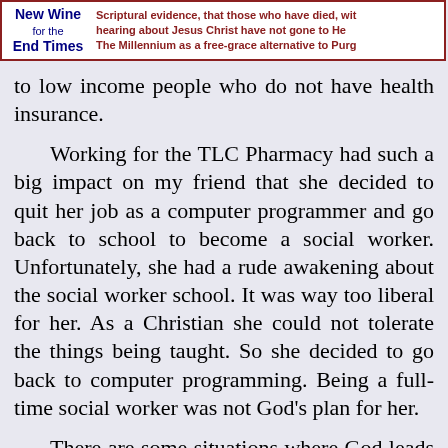New Wine for the End Times — Scriptural evidence, that those who have died, without hearing about Jesus Christ have not gone to He... The Millennium as a free-grace alternative to Purg...
to low income people who do not have health insurance.
Working for the TLC Pharmacy had such a big impact on my friend that she decided to quit her job as a computer programmer and go back to school to become a social worker. Unfortunately, she had a rude awakening about the social worker school. It was way too liberal for her. As a Christian she could not tolerate the things being taught. So she decided to go back to computer programming. Being a full-time social worker was not God's plan for her.
There are some situations where God leads people into a full-time ministry. But